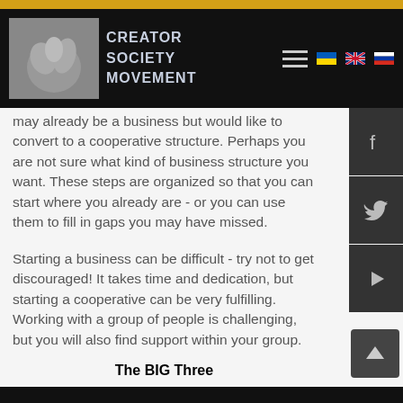[Figure (logo): Creator Society Movement logo with ceramic/sculpture hands image and text: CREATOR SOCIETY MOVEMENT on dark background header with hamburger menu and flag icons]
may already be a business but would like to convert to a cooperative structure. Perhaps you are not sure what kind of business structure you want. These steps are organized so that you can start where you already are - or you can use them to fill in gaps you may have missed.
Starting a business can be difficult - try not to get discouraged! It takes time and dedication, but starting a cooperative can be very fulfilling. Working with a group of people is challenging, but you will also find support within your group.
The BIG Three
To help you get started, consider what we call The Big Three questions in the box